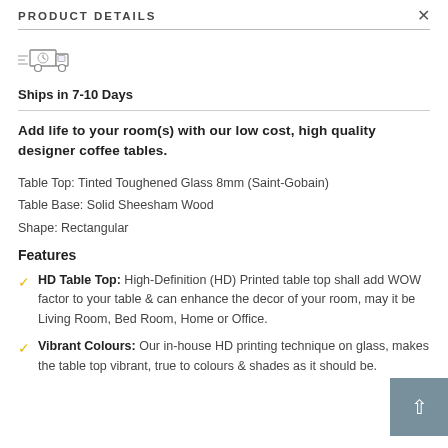PRODUCT DETAILS
[Figure (illustration): Delivery truck icon with speed lines indicating fast shipping]
Ships in 7-10 Days
Add life to your room(s) with our low cost, high quality designer coffee tables.
Table Top: Tinted Toughened Glass 8mm (Saint-Gobain)
Table Base: Solid Sheesham Wood
Shape: Rectangular
Features
HD Table Top: High-Definition (HD) Printed table top shall add WOW factor to your table & can enhance the decor of your room, may it be Living Room, Bed Room, Home or Office.
Vibrant Colours: Our in-house HD printing technique on glass, makes the table top vibrant, true to colours & shades as it should be.